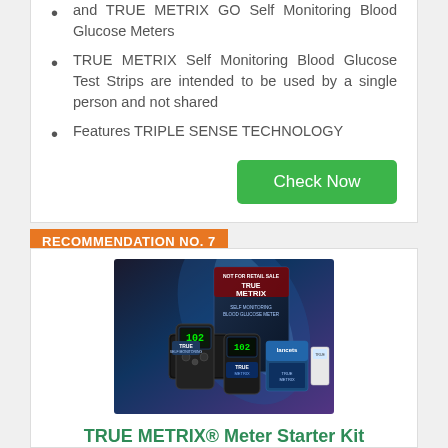and TRUE METRIX GO Self Monitoring Blood Glucose Meters
TRUE METRIX Self Monitoring Blood Glucose Test Strips are intended to be used by a single person and not shared
Features TRIPLE SENSE TECHNOLOGY
RECOMMENDATION NO. 7
[Figure (photo): TRUE METRIX Self Monitoring Blood Glucose Meter product kit including meter devices, test strips box, lancets, and carrying case displayed together]
TRUE METRIX® Meter Starter Kit